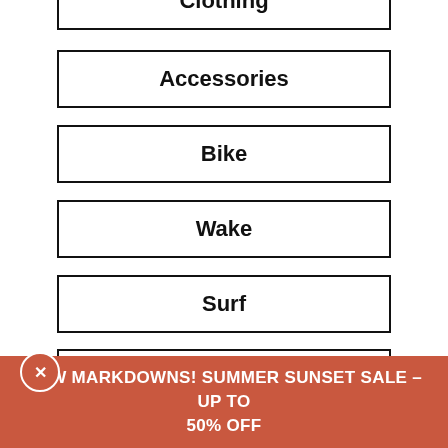Clothing
Accessories
Bike
Wake
Surf
Camp
Skate
NEW MARKDOWNS! SUMMER SUNSET SALE –UP TO 50% OFF